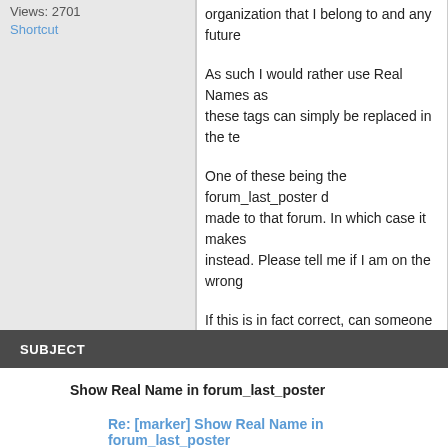Views: 2701
Shortcut
organization that I belong to and any future
As such I would rather use Real Names as these tags can simply be replaced in the te
One of these being the forum_last_poster made to that forum. In which case it makes instead. Please tell me if I am on the wrong
If this is in fact correct, can someone point forum_last_poster field, as I am not having
I would really appreciate any help you guys
Regards
Mark
SUBJECT
Show Real Name in forum_last_poster
Re: [marker] Show Real Name in forum_last_poster
Re: [Jagerman] Show Real Name in forum_last_poster